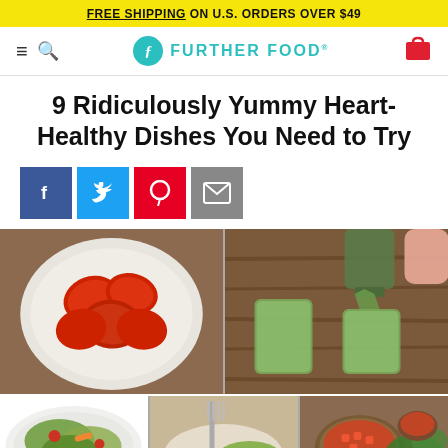FREE SHIPPING ON U.S. ORDERS OVER $49
Further Food
9 Ridiculously Yummy Heart-Healthy Dishes You Need to Try
[Figure (infographic): Social share buttons: Facebook, Twitter, Pinterest, Email]
[Figure (photo): Top-left: bowl of sliced strawberries on chia pudding viewed from above]
[Figure (photo): Top-right: green smoothie being poured into two glasses]
[Figure (photo): Bottom-left: colorful green salad on white plate]
[Figure (photo): Bottom-center: fork on a plate with green food]
[Figure (photo): Bottom-right: salsa in wooden bowl with greens]